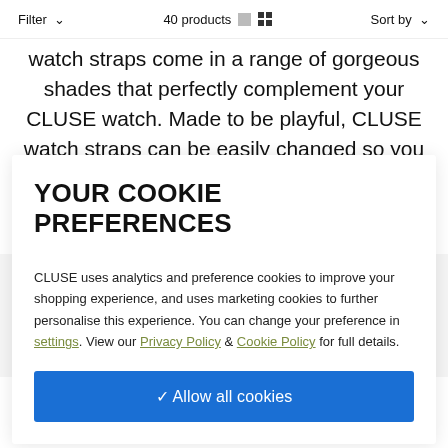Filter  40 products  Sort by
watch straps come in a range of gorgeous shades that perfectly complement your CLUSE watch. Made to be playful, CLUSE watch straps can be easily changed so you can always put a fresh spin on your favourite style. Perfect for updating your look with a pop of colour or some
YOUR COOKIE PREFERENCES
CLUSE uses analytics and preference cookies to improve your shopping experience, and uses marketing cookies to further personalise this experience. You can change your preference in settings. View our Privacy Policy & Cookie Policy for full details.
✓ Allow all cookies
Pavane – choose any 18mm CLUSE watch strap
Féroce – choose any 18mm CLUSE watch strap
Place Bellecour – choose any 18mm CLUSE watch strap